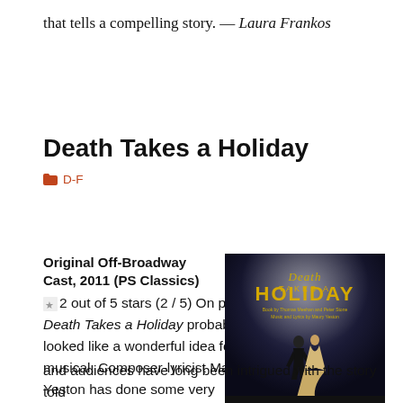that tells a compelling story. — Laura Frankos
Death Takes a Holiday
D-F
Original Off-Broadway Cast, 2011 (PS Classics)
2 out of 5 stars (2 / 5) On paper, Death Takes a Holiday probably looked like a wonderful idea for a musical. Composer-lyricist Maury Yeston has done some very admirable work,
[Figure (photo): Album cover for Death Takes a Holiday Original Off-Broadway Cast Recording, showing a couple dancing — man in tuxedo and woman in flowing gown — against a dramatic dark sky background with gold stylized text.]
and audiences have long been intrigued with the story told